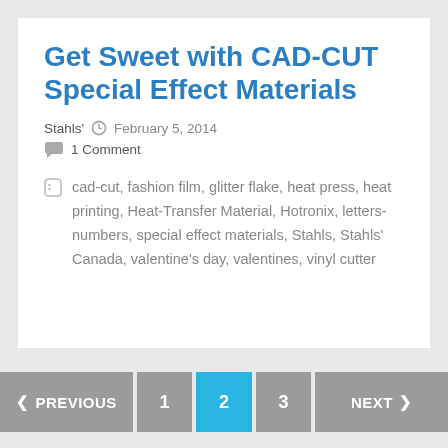Get Sweet with CAD-CUT Special Effect Materials
Stahls'   February 5, 2014
1 Comment
cad-cut, fashion film, glitter flake, heat press, heat printing, Heat-Transfer Material, Hotronix, letters-numbers, special effect materials, Stahls, Stahls' Canada, valentine's day, valentines, vinyl cutter
< PREVIOUS   1   2   3   NEXT >